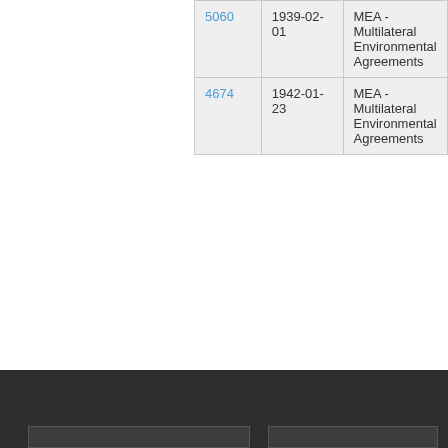|  | ID | Date | Category |
| --- | --- | --- | --- |
|  | 5060 | 1939-02-01 | MEA - Multilateral Environmental Agreements |
|  | 4674 | 1942-01-23 | MEA - Multilateral Environmental Agreements |